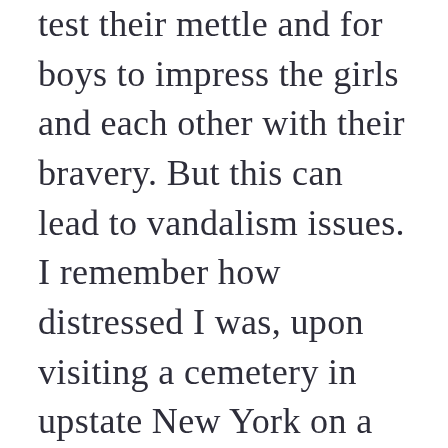test their mettle and for boys to impress the girls and each other with their bravery. But this can lead to vandalism issues. I remember how distressed I was, upon visiting a cemetery in upstate New York on a genealogical trip, to find a family marker for several of my ancestors heartlessly toppled over. I wrote to the cemetery custodian (people still used letters in those days), and the